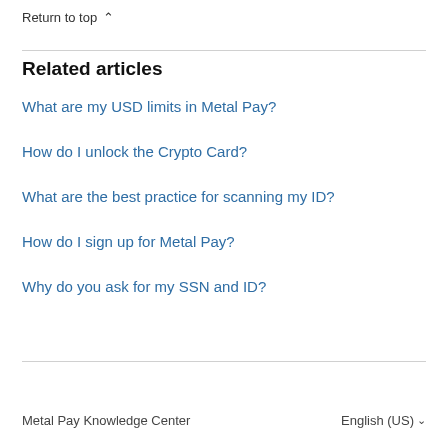Return to top ∧
Related articles
What are my USD limits in Metal Pay?
How do I unlock the Crypto Card?
What are the best practice for scanning my ID?
How do I sign up for Metal Pay?
Why do you ask for my SSN and ID?
Metal Pay Knowledge Center    English (US) ∨